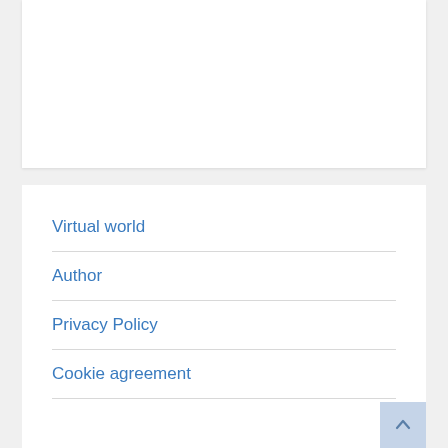Virtual world
Author
Privacy Policy
Cookie agreement